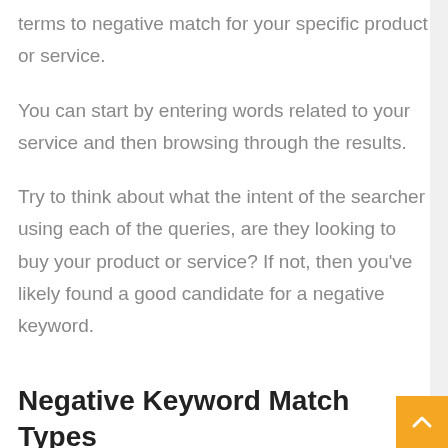terms to negative match for your specific product or service.
You can start by entering words related to your service and then browsing through the results.
Try to think about what the intent of the searcher using each of the queries, are they looking to buy your product or service? If not, then you've likely found a good candidate for a negative keyword.
Negative Keyword Match Types